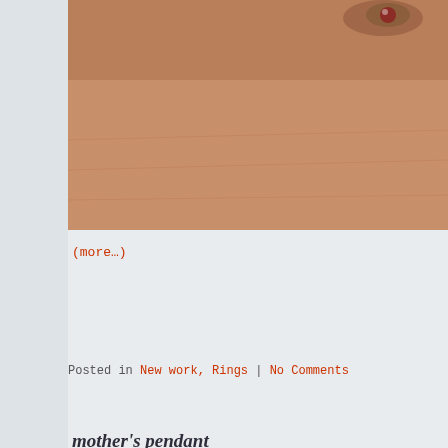[Figure (photo): Close-up photo of a hand wearing a ring with a gemstone, cropped at the top of the page]
(more…)
Posted in New work, Rings | No Comments
mother's pendant
Friday, August 20th, 2021
[Figure (photo): Photo of a gold pendant necklace featuring a sun/star design with a red gemstone in the center, and a flower charm with an orange gemstone, on a gold chain, against a tan/beige background]